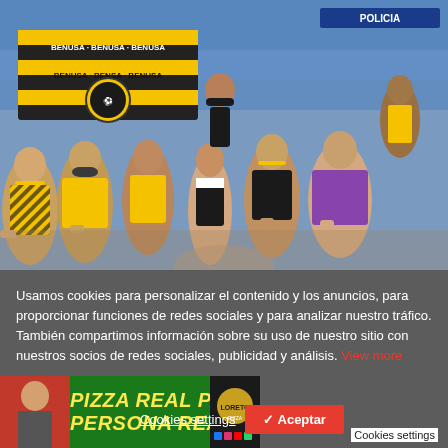[Figure (photo): Group of soccer fans in yellow and black team jerseys sitting in stadium bleachers, giving thumbs up, holding team banners. One fan wears a purple shirt. Blue stadium seats visible in background.]
Usamos cookies para personalizar el contenido y los anuncios, para proporcionar funciones de redes sociales y para analizar nuestro tráfico. También compartimos información sobre su uso de nuestro sitio con nuestros socios de redes sociales, publicidad y análisis. View more
[Figure (photo): Pizza advertisement banner showing 'PIZZA REAL PARA PERSONA REALE' in yellow text on green background with a person figure and logo on the right.]
Cookies settings
✓ Aceptar
Cookies settings